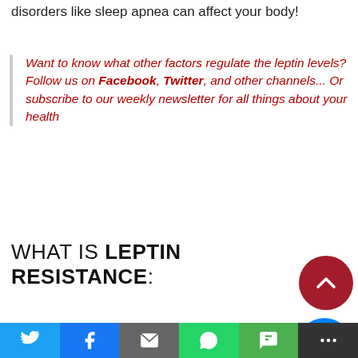disorders like sleep apnea can affect your body!
Want to know what other factors regulate the leptin levels? Follow us on Facebook, Twitter, and other channels... Or subscribe to our weekly newsletter for all things about your health
WHAT IS LEPTIN RESISTANCE:
Twitter | Facebook | Email | WhatsApp | SMS | More